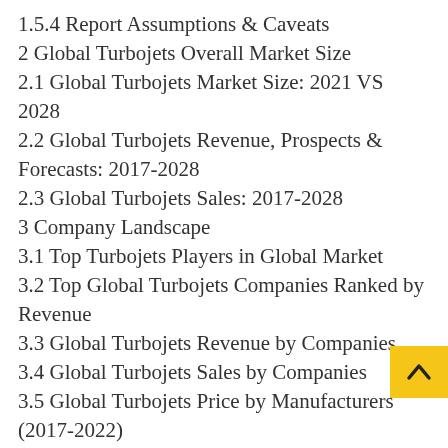1.5.4 Report Assumptions & Caveats
2 Global Turbojets Overall Market Size
2.1 Global Turbojets Market Size: 2021 VS 2028
2.2 Global Turbojets Revenue, Prospects & Forecasts: 2017-2028
2.3 Global Turbojets Sales: 2017-2028
3 Company Landscape
3.1 Top Turbojets Players in Global Market
3.2 Top Global Turbojets Companies Ranked by Revenue
3.3 Global Turbojets Revenue by Companies
3.4 Global Turbojets Sales by Companies
3.5 Global Turbojets Price by Manufacturers (2017-2022)
3.6 Top 3 and Top 5 Turbojets Companies in